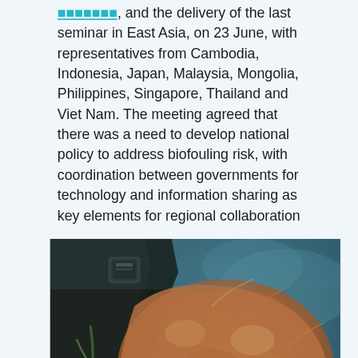[link], and the delivery of the last seminar in East Asia, on 23 June, with representatives from Cambodia, Indonesia, Japan, Malaysia, Mongolia, Philippines, Singapore, Thailand and Viet Nam. The meeting agreed that there was a need to develop national policy to address biofouling risk, with coordination between governments for technology and information sharing as key elements for regional collaboration
[Figure (photo): Close-up underwater photograph showing biofouling on a surface — orange/rust-colored encrusting organisms covering a dark substrate, with a teal/blue-green water background.]